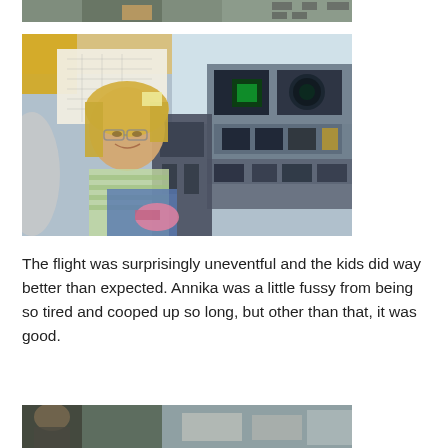[Figure (photo): Partial photo at top of page showing a person in what appears to be a cockpit or vehicle, cropped at the top]
[Figure (photo): Young blonde girl with glasses sitting in an airplane cockpit, smiling at camera, surrounded by cockpit instruments and controls]
The flight was surprisingly uneventful and the kids did way better than expected. Annika was a little fussy from being so tired and cooped up so long, but other than that, it was good.
[Figure (photo): Partial photo at bottom of page, cropped, showing people in what appears to be an airplane interior]